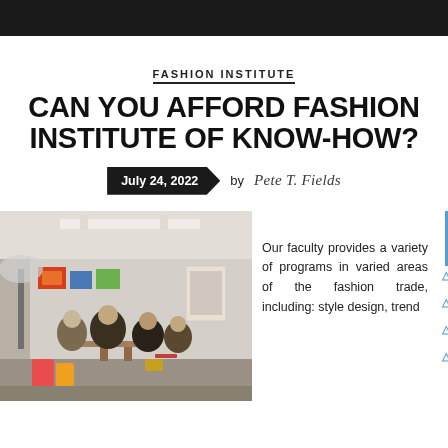FASHION INSTITUTE
CAN YOU AFFORD FASHION INSTITUTE OF KNOW-HOW?
July 24, 2022  by Pete T. Fields
[Figure (photo): Classroom scene with students sitting around tables in what appears to be an art or fashion studio, with artwork visible on the walls and lighting equipment in the foreground.]
Our faculty provides a variety of programs in varied areas of the fashion trade, including: style design, trend